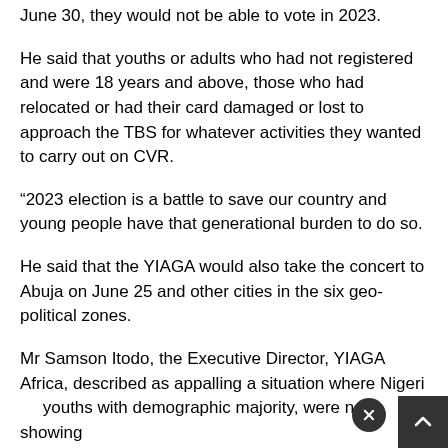June 30, they would not be able to vote in 2023.
He said that youths or adults who had not registered and were 18 years and above, those who had relocated or had their card damaged or lost to approach the TBS for whatever activities they wanted to carry out on CVR.
“2023 election is a battle to save our country and young people have that generational burden to do so.
He said that the YIAGA would also take the concert to Abuja on June 25 and other cities in the six geo-political zones.
Mr Samson Itodo, the Executive Director, YIAGA Africa, described as appalling a situation where Nigerian youths with demographic majority, were not showing